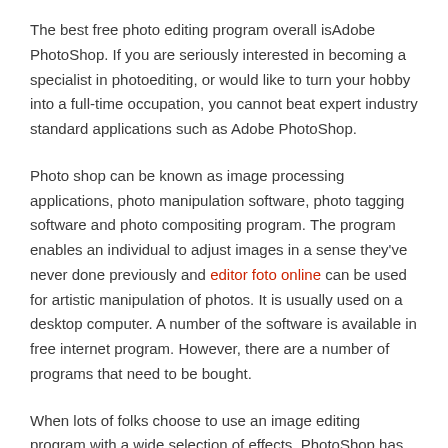The best free photo editing program overall isAdobe PhotoShop. If you are seriously interested in becoming a specialist in photoediting, or would like to turn your hobby into a full-time occupation, you cannot beat expert industry standard applications such as Adobe PhotoShop.
Photo shop can be known as image processing applications, photo manipulation software, photo tagging software and photo compositing program. The program enables an individual to adjust images in a sense they've never done previously and editor foto online can be used for artistic manipulation of photos. It is usually used on a desktop computer. A number of the software is available in free internet program. However, there are a number of programs that need to be bought.
When lots of folks choose to use an image editing program with a wide selection of effects, PhotoShop has features